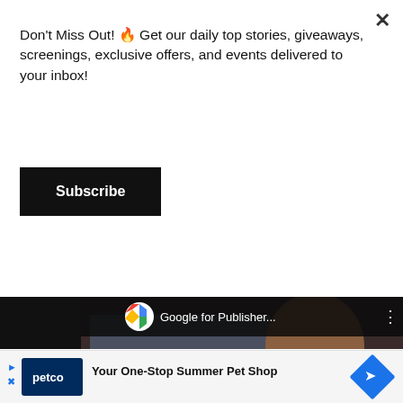Don't Miss Out! 🔥 Get our daily top stories, giveaways, screenings, exclusive offers, and events delivered to your inbox!
Subscribe
[Figure (screenshot): Embedded YouTube video player showing a Google for Publishers video, partially obscured by an overlapping white rectangle. Video shows a person at a desk. Controls bar shows play button and 00:00 timestamp with progress bar.]
[Figure (infographic): Petco advertisement banner: blue Petco logo box, text 'Your One-Stop Summer Pet Shop', blue diamond arrow icon, with navigation arrows on left side.]